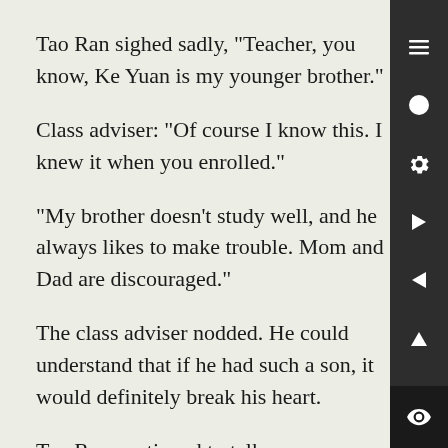Tao Ran sighed sadly, "Teacher, you know, Ke Yuan is my younger brother."
Class adviser: "Of course I know this. I knew it when you enrolled."
"My brother doesn't study well, and he always likes to make trouble. Mom and Dad are discouraged."
The class adviser nodded. He could understand that if he had such a son, it would definitely break his heart.
Tao Ran continued to talk nonsense, "Recently, we discovered that my brother doesn't sleep every night and always shuts himself in the room. There is always a strange noise in the room."